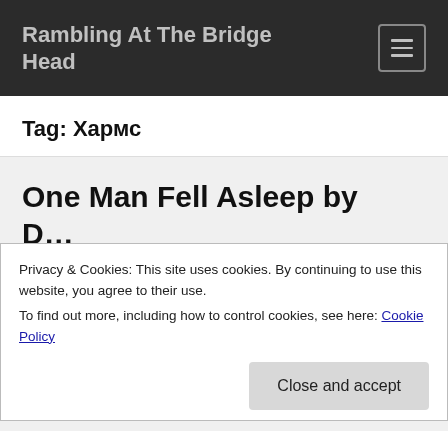Rambling At The Bridge Head
Tag: Хармс
One Man Fell Asleep by D…
Privacy & Cookies: This site uses cookies. By continuing to use this website, you agree to their use.
To find out more, including how to control cookies, see here: Cookie Policy
Close and accept